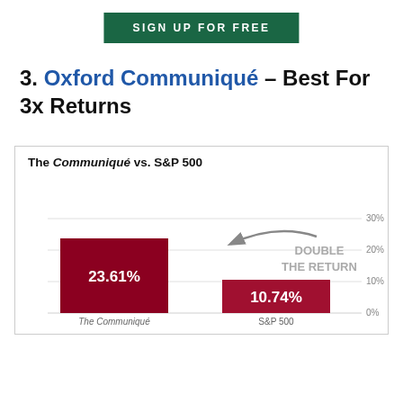SIGN UP FOR FREE
3. Oxford Communiqué – Best For 3x Returns
[Figure (bar-chart): The Communiqué vs. S&P 500]